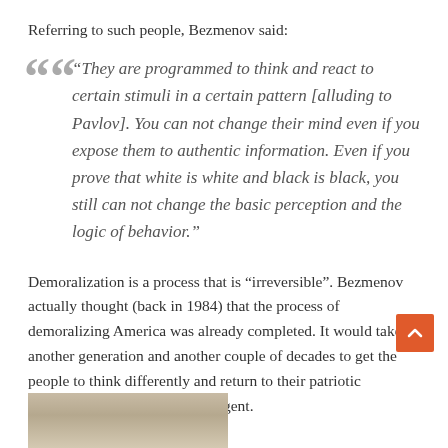Referring to such people, Bezmenov said:
“They are programmed to think and react to certain stimuli in a certain pattern [alluding to Pavlov]. You can not change their mind even if you expose them to authentic information. Even if you prove that white is white and black is black, you still can not change the basic perception and the logic of behavior.”
Demoralization is a process that is “irreversible”. Bezmenov actually thought (back in 1984) that the process of demoralizing America was already completed. It would take another generation and another couple of decades to get the people to think differently and return to their patriotic American values, claimed the agent.
[Figure (photo): Partial photo of a person visible at the bottom of the page]